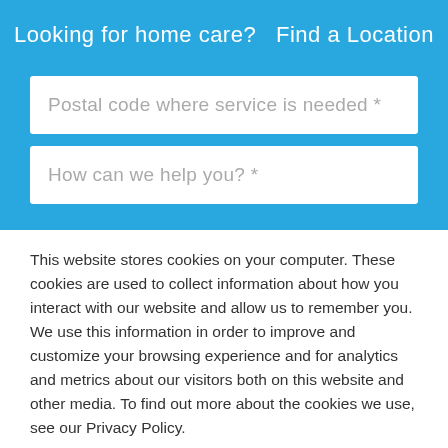Looking for home care?   Find a Location
Postal code where service is needed *
How can we help you? *
This website stores cookies on your computer. These cookies are used to collect information about how you interact with our website and allow us to remember you. We use this information in order to improve and customize your browsing experience and for analytics and metrics about our visitors both on this website and other media. To find out more about the cookies we use, see our Privacy Policy.
If you decline, your information won’t be tracked when you visit this website. A single cookie will be used in your browser to remember your preference not to be tracked.
Accept
Decline